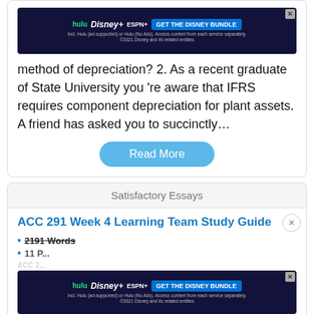[Figure (screenshot): Disney Bundle advertisement banner at top of page]
method of depreciation? 2. As a recent graduate of State University you 're aware that IFRS requires component depreciation for plant assets. A friend has asked you to succinctly…
Read More
Satisfactory Essays
ACC 291 Week 4 Learning Team Study Guide
2191 Words
11 P...
[Figure (screenshot): Disney Bundle advertisement banner at bottom of page]
ACC 2... www.paperscholar.com DIRECT LINK TO THIS STUDY GUIDE...